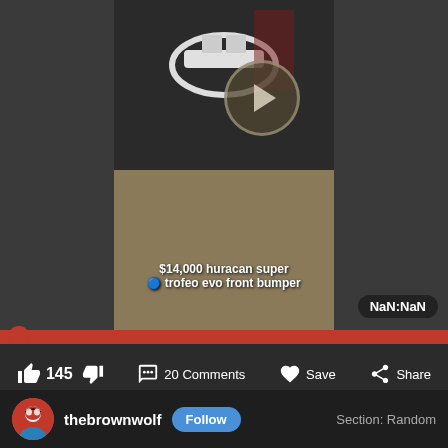[Figure (screenshot): Social media video post showing a $14,000 Lamborghini Huracan Super Trofeo Evo front bumper in a garage setting, with a play button overlay, video progress bar, NaN:NaN timestamp, and interaction buttons (145 likes, 20 Comments, Save, Share), and user profile bar showing thebrownwolf with Follow button and Section: Random label.]